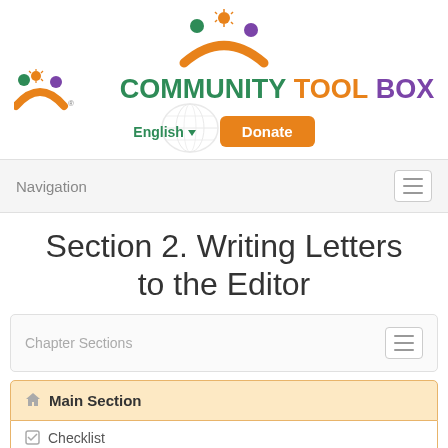[Figure (logo): Community Tool Box logo with three figures (green, orange/sun, purple) forming arches, with a smaller version on the left and brand text reading COMMUNITY TOOL BOX]
English ▼
Donate
Navigation
Section 2. Writing Letters to the Editor
Chapter Sections
Main Section
Checklist